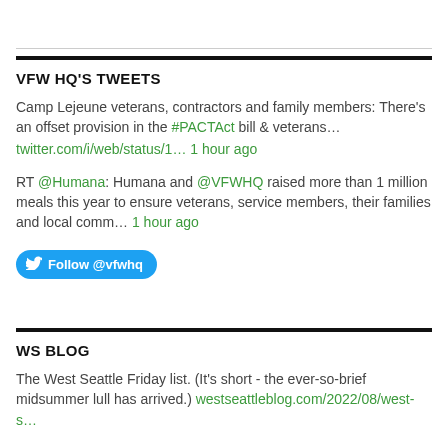VFW HQ'S TWEETS
Camp Lejeune veterans, contractors and family members: There's an offset provision in the #PACTAct bill & veterans… twitter.com/i/web/status/1… 1 hour ago
RT @Humana: Humana and @VFWHQ raised more than 1 million meals this year to ensure veterans, service members, their families and local comm… 1 hour ago
Follow @vfwhq
WS BLOG
The West Seattle Friday list. (It's short - the ever-so-brief midsummer lull has arrived.) westseattleblog.com/2022/08/west-s…